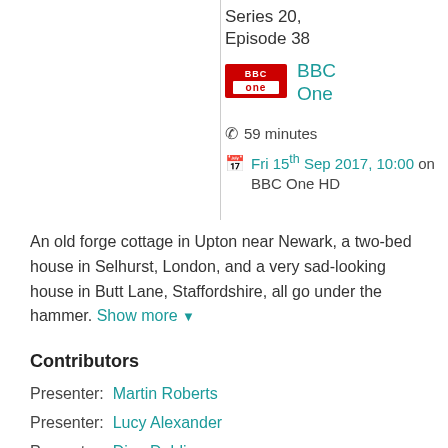Series 20, Episode 38
[Figure (logo): BBC One logo — red rectangle with white BBC One text]
BBC One
59 minutes
Fri 15th Sep 2017, 10:00 on BBC One HD
An old forge cottage in Upton near Newark, a two-bed house in Selhurst, London, and a very sad-looking house in Butt Lane, Staffordshire, all go under the hammer. Show more
Contributors
Presenter: Martin Roberts
Presenter: Lucy Alexander
Presenter: Dion Dublin
Executive Producer: Lisa Hazlehurst